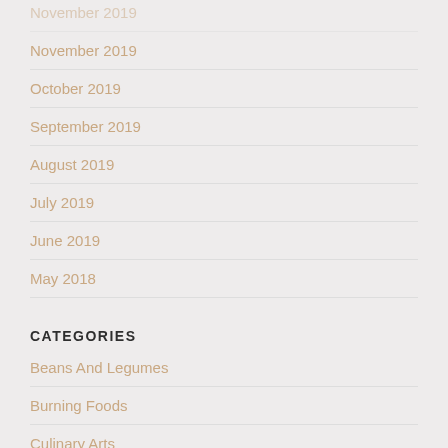November 2019
October 2019
September 2019
August 2019
July 2019
June 2019
May 2018
CATEGORIES
Beans And Legumes
Burning Foods
Culinary Arts
Culinary Arts